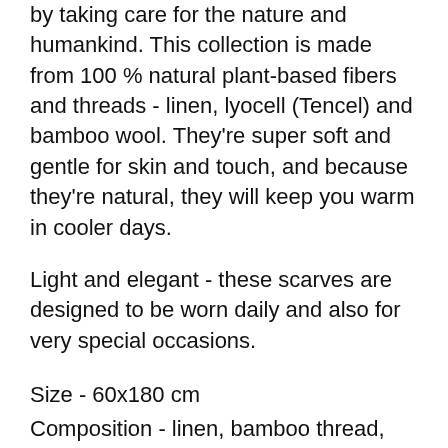by taking care for the nature and humankind. This collection is made from 100 % natural plant-based fibers and threads - linen, lyocell (Tencel) and bamboo wool. They're super soft and gentle for skin and touch, and because they're natural, they will keep you warm in cooler days.
Light and elegant - these scarves are designed to be worn daily and also for very special occasions.
Size - 60x180 cm
Composition - linen, bamboo thread, Lyocell (TENCEL®)
Color - eucalyptuse/sage/pastel green
Weight - 280 g
Washing instruction recomendation - we reccomend gentle hand washing